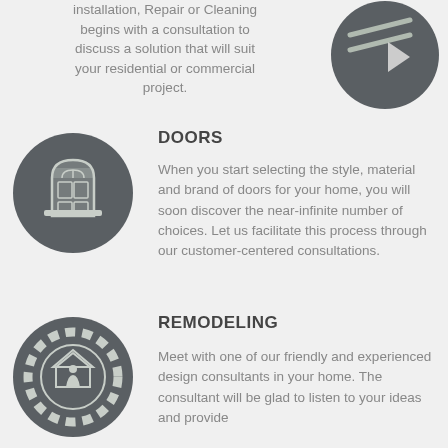installation, Repair or Cleaning begins with a consultation to discuss a solution that will suit your residential or commercial project.
[Figure (illustration): Dark grey circular icon with gutter/roof illustration]
[Figure (illustration): Dark grey circular icon with arched door illustration]
DOORS
When you start selecting the style, material and brand of doors for your home, you will soon discover the near-infinite number of choices. Let us facilitate this process through our customer-centered consultations.
[Figure (illustration): Dark grey circular icon with gear and house/remodeling illustration]
REMODELING
Meet with one of our friendly and experienced design consultants in your home. The consultant will be glad to listen to your ideas and provide